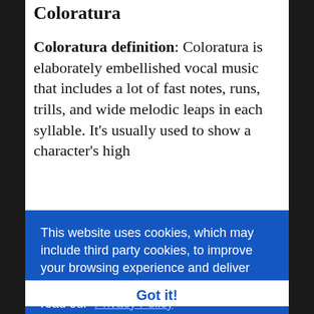Coloratura
Coloratura definition: Coloratura is elaborately embellished vocal music that includes a lot of fast notes, runs, trills, and wide melodic leaps in each syllable. It’s usually used to show a character’s high
This website uses cookies, which may include third party cookies, to improve your browsing experience and deliver personalized content. To find out more read our Privacy Policy
Got it!
sopranos. The association of coloraturas